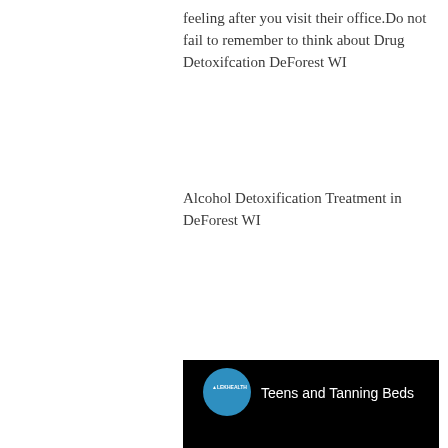feeling after you visit their office.Do not fail to remember to think about Drug Detoxifcation DeForest WI
Alcohol Detoxification Treatment in DeForest WI
[Figure (screenshot): Video thumbnail showing a YouTube-style video player with black background. A blue circle logo with 'LEKHEALTH' text is visible in the top left area, followed by white text reading 'Teens and Tanning Beds'.]